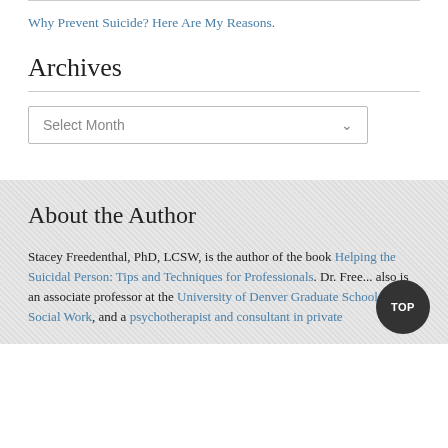Why Prevent Suicide? Here Are My Reasons.
Archives
Select Month
About the Author
Stacey Freedenthal, PhD, LCSW, is the author of the book Helping the Suicidal Person: Tips and Techniques for Professionals. Dr. Free... also is an associate professor at the University of Denver Graduate School of Social Work, and a psychotherapist and consultant in private...